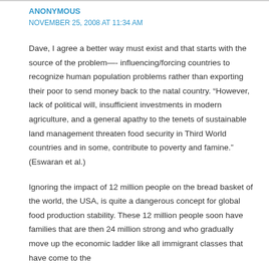ANONYMOUS
NOVEMBER 25, 2008 AT 11:34 AM
Dave, I agree a better way must exist and that starts with the source of the problem— influencing/forcing countries to recognize human population problems rather than exporting their poor to send money back to the natal country. “However, lack of political will, insufficient investments in modern agriculture, and a general apathy to the tenets of sustainable land management threaten food security in Third World countries and in some, contribute to poverty and famine.” (Eswaran et al.)
Ignoring the impact of 12 million people on the bread basket of the world, the USA, is quite a dangerous concept for global food production stability. These 12 million people soon have families that are then 24 million strong and who gradually move up the economic ladder like all immigrant classes that have come to the